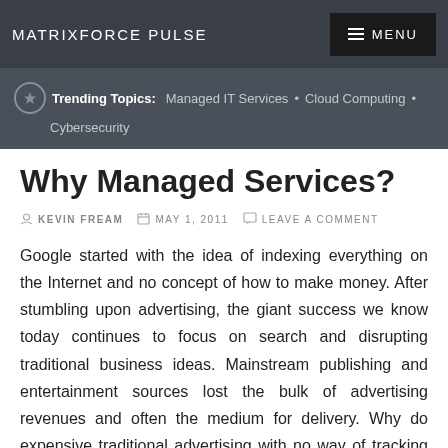MATRIXFORCE PULSE
Trending Topics: Managed IT Services • Cloud Computing • Cybersecurity
Why Managed Services?
KEVIN FREAM   MAY 1, 2011   LEAVE A COMMENT
Google started with the idea of indexing everything on the Internet and no concept of how to make money.  After stumbling upon advertising, the giant success we know today continues to focus on search and disrupting traditional business ideas. Mainstream publishing and entertainment sources lost the bulk of advertising revenues and often the medium for delivery. Why do expensive traditional advertising with no way of tracking return when you can pay a fraction of